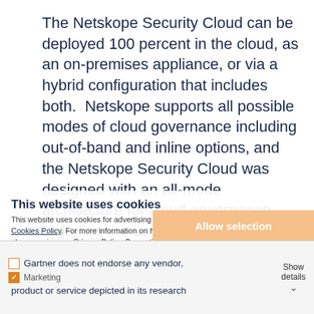The Netskope Security Cloud can be deployed 100 percent in the cloud, as an on-premises appliance, or via a hybrid configuration that includes both.  Netskope supports all possible modes of cloud governance including out-of-band and inline options, and the Netskope Security Cloud was designed with an all-mode architecture for cloud governance, including the use of multiple methods in parallel at cloud-scale for the largest enterprises in the world.
This website uses cookies
This website uses cookies for advertising and analytics purposes as described in our Cookies Policy. For more information on how you can control the use of cookies, please review our Privacy Policy. By continuing to browse this site, you acknowledge the use of cookies.
Allow selection
Allow all cookies
Gartner Disclaimer
Gartner does not endorse any vendor, product or service depicted in its research